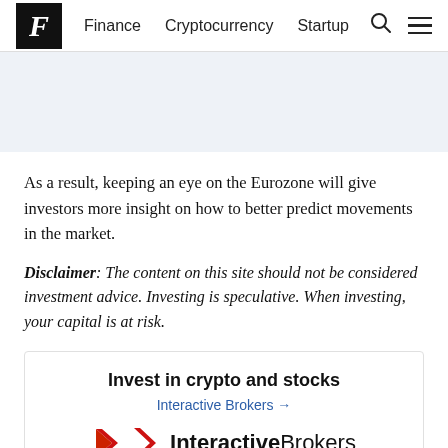F  Finance  Cryptocurrency  Startup
As a result, keeping an eye on the Eurozone will give investors more insight on how to better predict movements in the market.
Disclaimer: The content on this site should not be considered investment advice. Investing is speculative. When investing, your capital is at risk.
[Figure (infographic): Advertisement box: 'Invest in crypto and stocks' with Interactive Brokers link and logo]